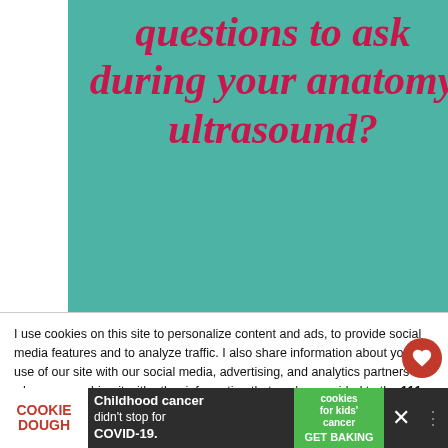questions to ask during your anatomy ultrasound?
Get our printable "Important Questions to Ask" checklist when
I use cookies on this site to personalize content and ads, to provide social media features and to analyze traffic. I also share information about your use of our site with our social media, advertising, and analytics partners who may combine it with other information that you've provided to the 111 that they've collected from your use of their services. Privacy & Cookie Policy
[Figure (screenshot): Advertisement banner for 'Cookie Dough' featuring text 'Childhood cancer didn't stop for COVID-19.' with a cookies for kids' cancer logo and 'GET BAKING' call to action]